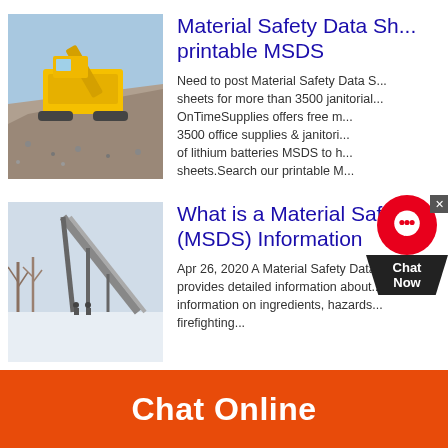[Figure (photo): Industrial yellow mining/crushing machine working on a pile of crushed rock/gravel, outdoor setting with sky in background]
Material Safety Data Sh... printable MSDS
Need to post Material Safety Data S... sheets for more than 3500 janitorial... OnTimeSupplies offers free m... 3500 office supplies & janitori... of lithium batteries MSDS to h... sheets.Search our printable M...
[Figure (photo): Industrial conveyor belt/rock crushing equipment in a snowy outdoor setting with bare trees in background, two people visible]
What is a Material Safet... (MSDS) Information
Apr 26, 2020 A Material Safety Data... provides detailed information about... information on ingredients, hazards... firefighting...
Chat Online